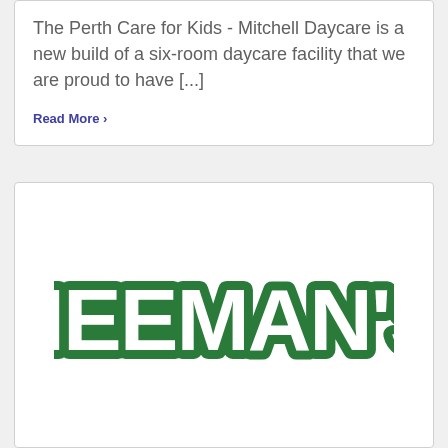The Perth Care for Kids - Mitchell Daycare is a new build of a six-room daycare facility that we are proud to have [...]
Read More ›
[Figure (logo): Heeman's logo — bold bubble-letter text in green with white fill and green outline stroke]